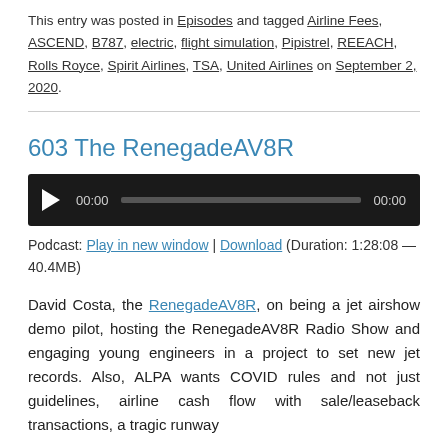This entry was posted in Episodes and tagged Airline Fees, ASCEND, B787, electric, flight simulation, Pipistrel, REEACH, Rolls Royce, Spirit Airlines, TSA, United Airlines on September 2, 2020.
603 The RenegadeAV8R
[Figure (other): Audio player with play button, time display 00:00, progress bar, and end time 00:00]
Podcast: Play in new window | Download (Duration: 1:28:08 — 40.4MB)
David Costa, the RenegadeAV8R, on being a jet airshow demo pilot, hosting the RenegadeAV8R Radio Show and engaging young engineers in a project to set new jet records. Also, ALPA wants COVID rules and not just guidelines, airline cash flow with sale/leaseback transactions, a tragic runway